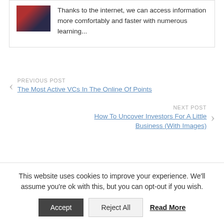[Figure (photo): Small thumbnail image with red and dark tones, partially visible at top of card]
Thanks to the internet, we can access information more comfortably and faster with numerous learning...
PREVIOUS POST
The Most Active VCs In The Online Of Points
NEXT POST
How To Uncover Investors For A Little Business (With Images)
This website uses cookies to improve your experience. We'll assume you're ok with this, but you can opt-out if you wish.
Accept
Reject All
Read More